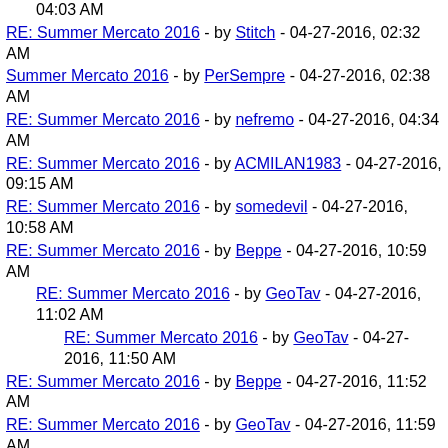04:03 AM
RE: Summer Mercato 2016 - by Stitch - 04-27-2016, 02:32 AM
Summer Mercato 2016 - by PerSempre - 04-27-2016, 02:38 AM
RE: Summer Mercato 2016 - by nefremo - 04-27-2016, 04:34 AM
RE: Summer Mercato 2016 - by ACMILAN1983 - 04-27-2016, 09:15 AM
RE: Summer Mercato 2016 - by somedevil - 04-27-2016, 10:58 AM
RE: Summer Mercato 2016 - by Beppe - 04-27-2016, 10:59 AM
RE: Summer Mercato 2016 - by GeoTav - 04-27-2016, 11:02 AM
RE: Summer Mercato 2016 - by GeoTav - 04-27-2016, 11:50 AM
RE: Summer Mercato 2016 - by Beppe - 04-27-2016, 11:52 AM
RE: Summer Mercato 2016 - by GeoTav - 04-27-2016, 11:59 AM
RE: Summer Mercato 2016 - by Arildonardo - 04-27-2016, 01:53 PM
RE: Summer Mercato 2016 - by nefremo - 04-27-2016, 02:43 PM
RE: Summer Mercato 2016 - by reza - 04-27-2016, 05:04 PM
RE: Summer Mercato 2016 - by ... - 04-27-2016, 05:17 PM